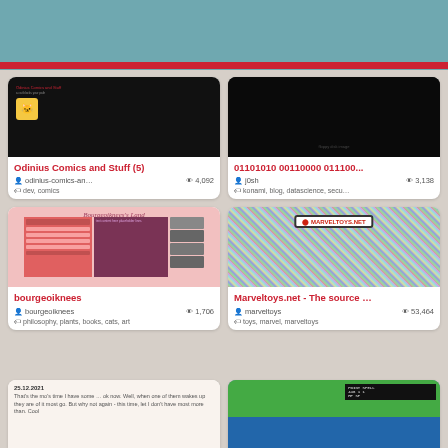[Figure (screenshot): Navigation bar with cat mascot logo and hamburger menu]
[Figure (screenshot): Thumbnail for Odinius Comics and Stuff showing dark background with red text and cat logo]
Odinius Comics and Stuff (5)
odinius-comics-an… 4,092
dev, comics
[Figure (screenshot): Thumbnail for 01101010 00110000 011100... showing dark/black background]
01101010 00110000 011100...
j0sh 3,138
konami, blog, datascience, secu…
[Figure (screenshot): Thumbnail for bourgeoiknees showing pink retro website layout]
bourgeoiknees
bourgeoiknees 1,706
philosophy, plants, books, cats, art
[Figure (screenshot): Thumbnail for Marveltoys.net showing colorful pixelated background with logo]
Marveltoys.net - The source …
marveltoys 53,464
toys, marvel, marveltoys
[Figure (screenshot): Partial bottom left card showing blog post dated 25.12.2021 with text]
[Figure (screenshot): Partial bottom right card showing game screenshot with map and UI]